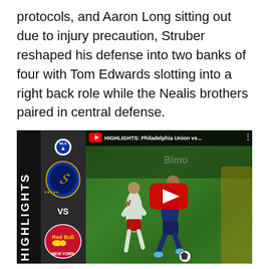protocols, and Aaron Long sitting out due to injury precaution, Struber reshaped his defense into two banks of four with Tom Edwards slotting into a right back role while the Nealis brothers paired in central defense.
[Figure (screenshot): YouTube video thumbnail for 'HIGHLIGHTS: Philadelphia Union vs...' showing MLS and Red Bull New York logos on the left panel with HIGHLIGHTS text vertically, and a soccer match action shot on the right with two players running, one in white (Red Bulls) and one in dark blue (Philadelphia Union). A YouTube play button overlay is visible in the center.]
The first half was a predictably cagey affair between these two similar tactical setups. The Red Bulls found